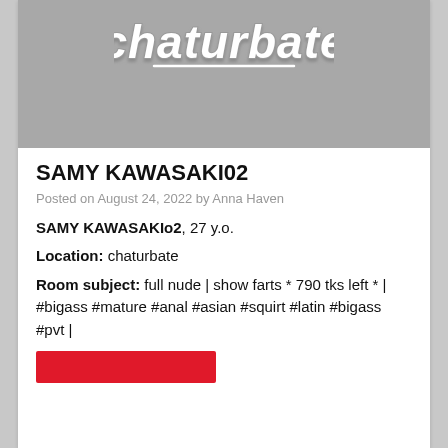[Figure (logo): Chaturbate logo in white italic script on grey background]
SAMY KAWASAKI02
Posted on August 24, 2022 by Anna Haven
SAMY KAWASAKIo2, 27 y.o.
Location: chaturbate
Room subject: full nude | show farts * 790 tks left * | #bigass #mature #anal #asian #squirt #latin #bigass #pvt |